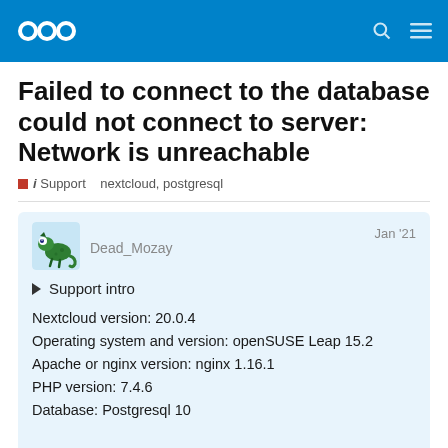Nextcloud community forum header
Failed to connect to the database could not connect to server: Network is unreachable
i Support   nextcloud, postgresql
Dead_Mozay   Jan '21
▶ Support intro
Nextcloud version: 20.0.4
Operating system and version: openSUSE Leap 15.2
Apache or nginx version: nginx 1.16.1
PHP version: 7.4.6
Database: Postgresql 10

The issue you are facing: